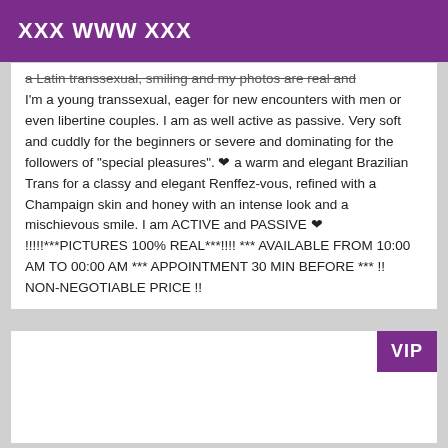XXX WWW XXX
a Latin transsexual, smiling and my photos are real and I'm a young transsexual, eager for new encounters with men or even libertine couples. I am as well active as passive. Very soft and cuddly for the beginners or severe and dominating for the followers of "special pleasures". ❤ a warm and elegant Brazilian Trans for a classy and elegant Renffez-vous, refined with a Champaign skin and honey with an intense look and a mischievous smile. I am ACTIVE and PASSIVE ❤ !!!!!***PICTURES 100% REAL***!!!! *** AVAILABLE FROM 10:00 AM TO 00:00 AM *** APPOINTMENT 30 MIN BEFORE *** !! NON-NEGOTIABLE PRICE !!
[Figure (other): White card with VIP badge in top-right corner]